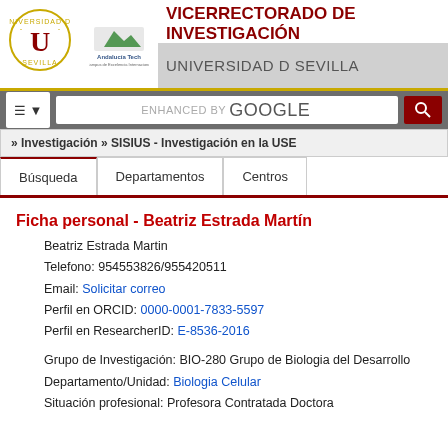[Figure (logo): Universidad de Sevilla circular logo with red and gold colors]
[Figure (logo): Andalucía Tech campus of international excellence logo]
VICERRECTORADO DE INVESTIGACIÓN
UNIVERSIDAD D SEVILLA
[Figure (screenshot): Search bar with menu button, Enhanced by Google search field, and red search button]
» Investigación » SISIUS - Investigación en la USE
Búsqueda | Departamentos | Centros
Ficha personal - Beatriz Estrada Martín
Beatriz Estrada Martin
Telefono: 954553826/955420511
Email: Solicitar correo
Perfil en ORCID: 0000-0001-7833-5597
Perfil en ResearcherID: E-8536-2016
Grupo de Investigación: BIO-280 Grupo de Biologia del Desarrollo
Departamento/Unidad: Biologia Celular
Situación profesional: Profesora Contratada Doctora